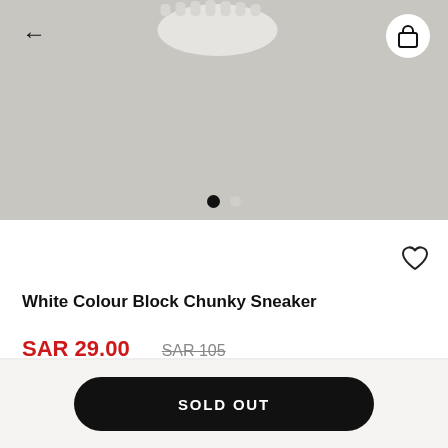[Figure (photo): Product image area showing top portion of a white chunky sneaker on a light grey background, with a back arrow navigation on the left and a shopping bag icon in a white circle on the top right. Two pagination dots at the bottom (one filled black, one grey).]
White Colour Block Chunky Sneaker
SAR 29.00  SAR 105
SOLD OUT